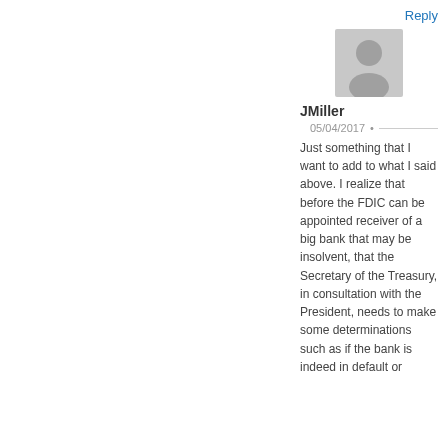Reply
[Figure (illustration): Generic gray user avatar silhouette icon]
JMiller
05/04/2017 •
Just something that I want to add to what I said above. I realize that before the FDIC can be appointed receiver of a big bank that may be insolvent, that the Secretary of the Treasury, in consultation with the President, needs to make some determinations such as if the bank is indeed in default or